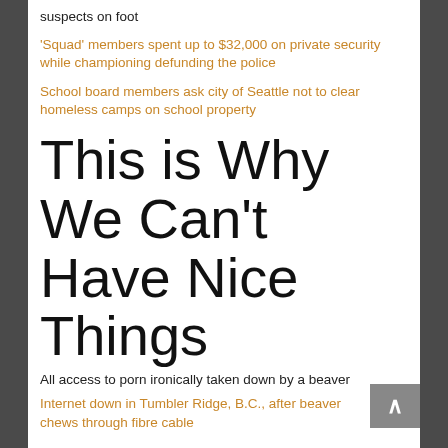suspects on foot
'Squad' members spent up to $32,000 on private security while championing defunding the police
School board members ask city of Seattle not to clear homeless camps on school property
This is Why We Can't Have Nice Things
All access to porn ironically taken down by a beaver
Internet down in Tumbler Ridge, B.C., after beaver chews through fibre cable